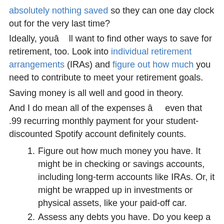absolutely nothing saved so they can one day clock out for the very last time?
Ideally, youâll want to find other ways to save for retirement, too. Look into individual retirement arrangements (IRAs) and figure out how much you need to contribute to meet your retirement goals.
Saving money is all well and good in theory.
And I do mean all of the expenses â even that .99 recurring monthly payment for your student-discounted Spotify account definitely counts.
Figure out how much money you have. It might be in checking or savings accounts, including long-term accounts like IRAs. Or, it might be wrapped up in investments or physical assets, like your paid-off car.
Assess any debts you have. Do you keep a revolving credit card balance? Do you pay a